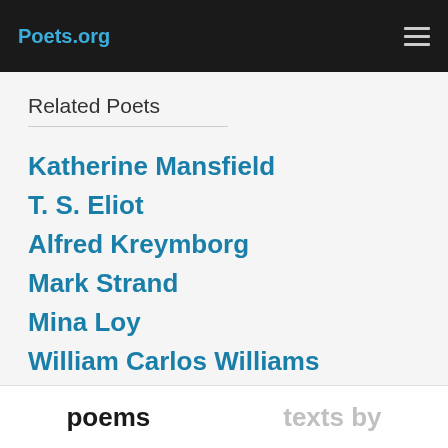Poets.org
Related Poets
Katherine Mansfield
T. S. Eliot
Alfred Kreymborg
Mark Strand
Mina Loy
William Carlos Williams
poems   texts by